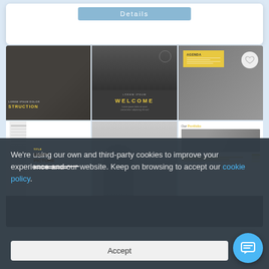[Figure (screenshot): Website screenshot showing a 'Details' button tab at top, a grid of 6 presentation template thumbnail images (construction, welcome, agenda, right picture, worker, portfolio), and a cookie consent overlay banner with Accept button and chat bubble icon.]
We're using our own and third-party cookies to improve your experience and our website. Keep on browsing to accept our cookie policy.
Accept